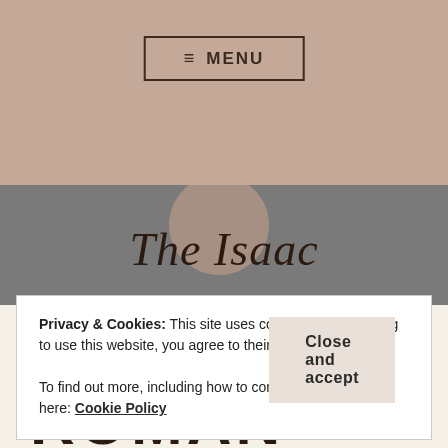≡ MENU
#ABOLISHTHEDEATHPENALTY
[Figure (logo): The Isaac Foundation script logo with circle emblem on gray banner background]
TAG: ROMAN
Privacy & Cookies: This site uses cookies. By continuing to use this website, you agree to their use.
To find out more, including how to control cookies, see here: Cookie Policy
Close and accept